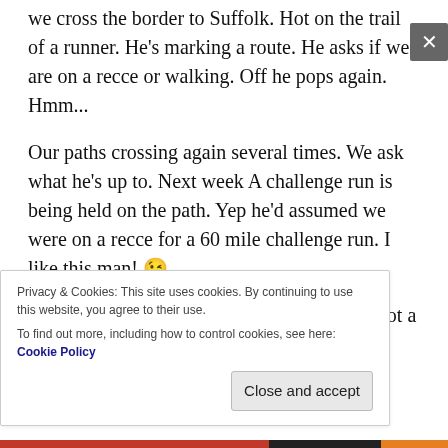we cross the border to Suffolk. Hot on the trail of a runner. He's marking a route. He asks if we are on a recce or walking. Off he pops again. Hmm...
Our paths crossing again several times. We ask what he's up to. Next week A challenge run is being held on the path. Yep he'd assumed we were on a recce for a 60 mile challenge run. I like this man! 😉
We get distracted by a ford. (A soggy road, not a car.) Fords are cool!  The benefit of this distraction allows running man to get ahead. From now on our way
Privacy & Cookies: This site uses cookies. By continuing to use this website, you agree to their use.
To find out more, including how to control cookies, see here: Cookie Policy